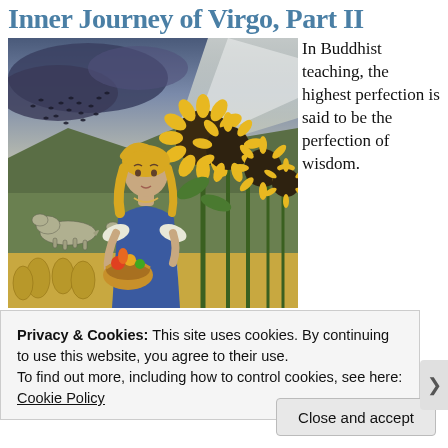Inner Journey of Virgo, Part II
[Figure (illustration): Painting of a blonde woman in a blue and white dress holding a basket of vegetables, standing in a field with sunflowers, wheat sheaves, wolves, and birds flying in a stormy sky with rays of light.]
In Buddhist teaching, the highest perfection is said to be the perfection of wisdom.
Privacy & Cookies: This site uses cookies. By continuing to use this website, you agree to their use.
To find out more, including how to control cookies, see here: Cookie Policy
Close and accept